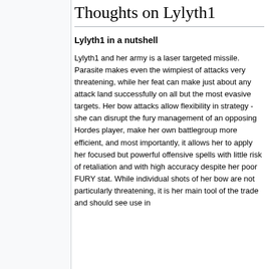Thoughts on Lylyth1
Lylyth1 in a nutshell
Lylyth1 and her army is a laser targeted missile. Parasite makes even the wimpiest of attacks very threatening, while her feat can make just about any attack land successfully on all but the most evasive targets. Her bow attacks allow flexibility in strategy - she can disrupt the fury management of an opposing Hordes player, make her own battlegroup more efficient, and most importantly, it allows her to apply her focused but powerful offensive spells with little risk of retaliation and with high accuracy despite her poor FURY stat. While individual shots of her bow are not particularly threatening, it is her main tool of the trade and should see use in